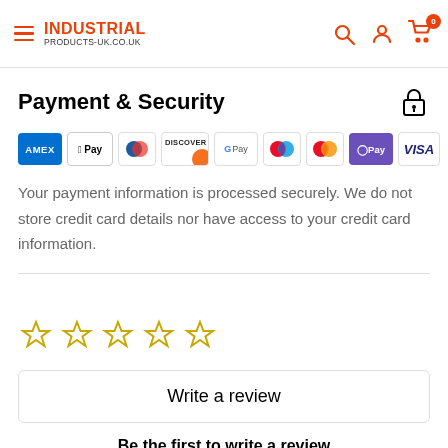INDUSTRIAL PRODUCTS-UK.CO.UK
Payment & Security
[Figure (infographic): Payment method logos: American Express (AMEX), Apple Pay, Diners Club, Discover, Google Pay, Maestro, Mastercard, O Pay, Visa]
Your payment information is processed securely. We do not store credit card details nor have access to your credit card information.
[Figure (other): Five empty star rating icons in yellow outline]
Write a review
Be the first to write a review